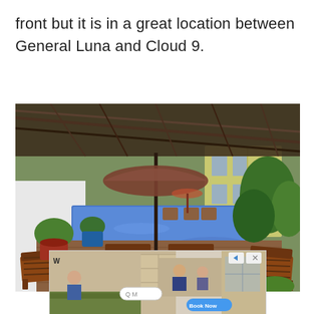front but it is in a great location between General Luna and Cloud 9.
[Figure (photo): Outdoor pool area with wooden lounge chairs arranged around a rectangular swimming pool with blue tiles. Large umbrella in center, potted plants along edges, thatched roof overhang, and a white building in background surrounded by tropical vegetation.]
[Figure (photo): Advertisement banner showing a kitchen scene with people cooking, a search bar with 'Q M' text, navigation arrows, and a 'Book Now' blue button.]